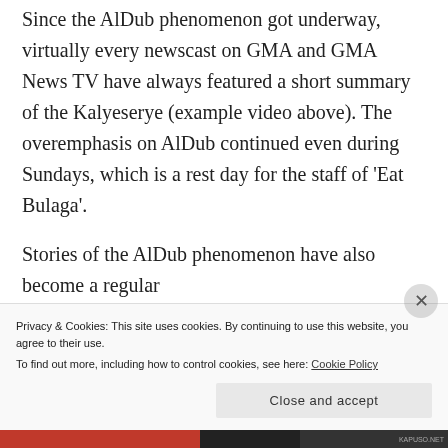Since the AlDub phenomenon got underway, virtually every newscast on GMA and GMA News TV have always featured a short summary of the Kalyeserye (example video above). The overemphasis on AlDub continued even during Sundays, which is a rest day for the staff of 'Eat Bulaga'.
Stories of the AlDub phenomenon have also become a regular ('Kapuso Makulit...
Privacy & Cookies: This site uses cookies. By continuing to use this website, you agree to their use.
To find out more, including how to control cookies, see here: Cookie Policy